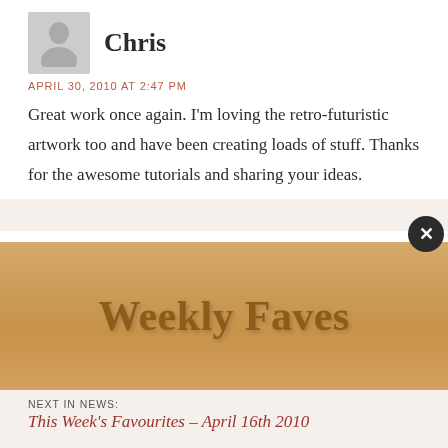[Figure (illustration): Grey silhouette avatar placeholder icon for user Chris]
Chris
APRIL 30, 2010 AT 2:47 PM
Great work once again. I'm loving the retro-futuristic artwork too and have been creating loads of stuff. Thanks for the awesome tutorials and sharing your ideas.
[Figure (photo): Profile photo of Rachel, a woman with dark hair]
Rachel
APRIL 30, 2010 AT 6:54 PM
Very Nice Work…    I enjoyed a lot reading it, a lot of
[Figure (illustration): Weekly Faves banner with decorative gold/brown text on tan textured background]
NEXT IN NEWS:
This Week's Favourites – April 16th 2010